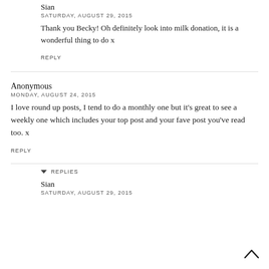Sian
SATURDAY, AUGUST 29, 2015
Thank you Becky! Oh definitely look into milk donation, it is a wonderful thing to do x
REPLY
Anonymous
MONDAY, AUGUST 24, 2015
I love round up posts, I tend to do a monthly one but it's great to see a weekly one which includes your top post and your fave post you've read too. x
REPLY
REPLIES
Sian
SATURDAY, AUGUST 29, 2015